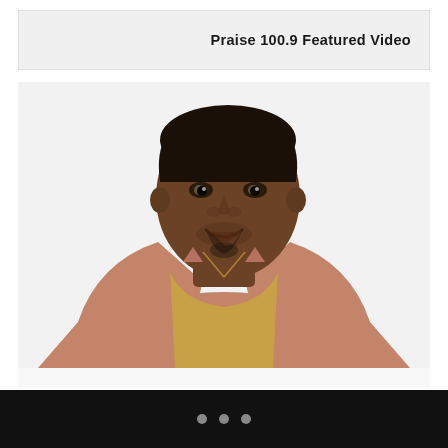Praise 100.9 Featured Video
[Figure (photo): Portrait of a young Black man smiling, wearing a pink/salmon blazer over a mustard yellow sweater with a thin gold chain necklace, against a white background, head tilted slightly to the left]
• • •